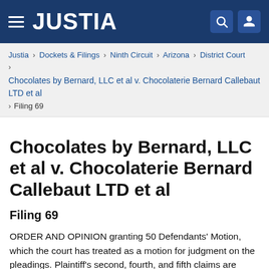JUSTIA
Justia › Dockets & Filings › Ninth Circuit › Arizona › District Court › Chocolates by Bernard, LLC et al v. Chocolaterie Bernard Callebaut LTD et al › Filing 69
Chocolates by Bernard, LLC et al v. Chocolaterie Bernard Callebaut LTD et al
Filing 69
ORDER AND OPINION granting 50 Defendants' Motion, which the court has treated as a motion for judgment on the pleadings. Plaintiff's second, fourth, and fifth claims are dismissed. In addition, the Defendants objection at Doc. 67 is DENIED as moot. Plaintiffs'